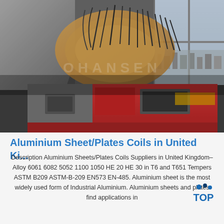[Figure (photo): Industrial photograph showing aluminium coil processing equipment in a factory/warehouse setting. Large copper-colored aluminium coils are visible on a red industrial machine. Metal ductwork is on the left, and a window with a city view is on the right.]
Aluminium Sheet/Plates Coils in United Ki...
Description Aluminium Sheets/Plates Coils Suppliers in United Kingdom– Alloy 6061 6082 5052 1100 1050 HE 20 HE 30 in T6 and T651 Tempers ASTM B209 ASTM-B-209 EN573 EN-485. Aluminium sheet is the most widely used form of Industrial Aluminium. Aluminium sheets and plates find applications in